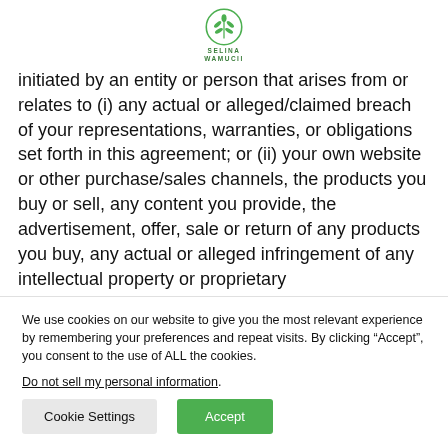SELINA WAMUCII
initiated by an entity or person that arises from or relates to (i) any actual or alleged/claimed breach of your representations, warranties, or obligations set forth in this agreement; or (ii) your own website or other purchase/sales channels, the products you buy or sell, any content you provide, the advertisement, offer, sale or return of any products you buy, any actual or alleged infringement of any intellectual property or proprietary
We use cookies on our website to give you the most relevant experience by remembering your preferences and repeat visits. By clicking “Accept”, you consent to the use of ALL the cookies.
Do not sell my personal information.
Cookie Settings | Accept